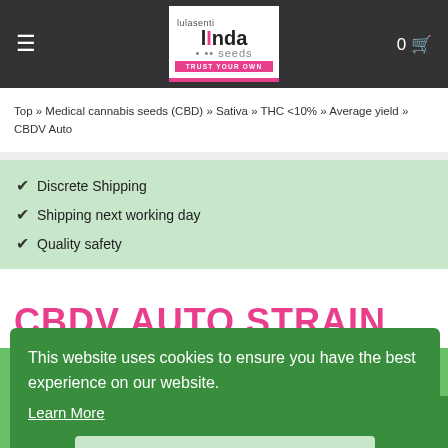Linda Seeds - TRUST YOUR OWN
Top » Medical cannabis seeds (CBD) » Sativa » THC <10% » Average yield » CBDV Auto
✓ Discrete Shipping
✓ Shipping next working day
✓ Quality safety
CBDV AUTO STRAIN
Kannabia Seeds
-50%
PROMO
This website uses cookies to ensure you have the best experience on our website. Learn More
Allow cookies